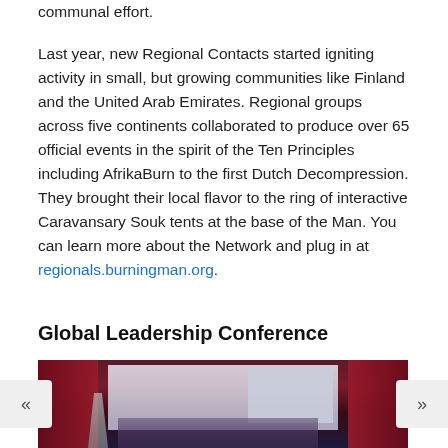communal effort.

Last year, new Regional Contacts started igniting activity in small, but growing communities like Finland and the United Arab Emirates. Regional groups across five continents collaborated to produce over 65 official events in the spirit of the Ten Principles including AfrikaBurn to the first Dutch Decompression. They brought their local flavor to the ring of interactive Caravansary Souk tents at the base of the Man. You can learn more about the Network and plug in at regionals.burningman.org.
Global Leadership Conference
[Figure (photo): Photo of a stage or conference setting with red curtains, a decorative wire/metal figure sculpture on the left, a projection screen on the right, and people standing at the base of the stage.]